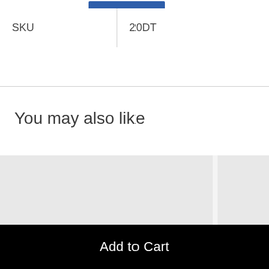| SKU | 20DT |
| --- | --- |
You may also like
[Figure (photo): Two product image placeholder cards, light grey background, partially visible second card on the right]
Add to Cart